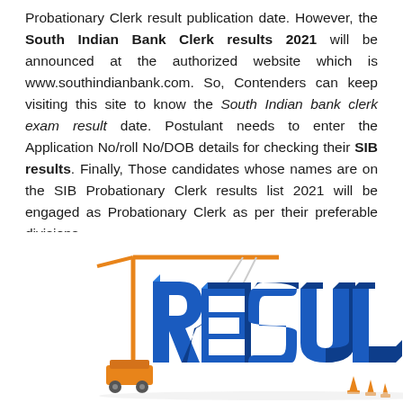Probationary Clerk result publication date. However, the South Indian Bank Clerk results 2021 will be announced at the authorized website which is www.southindianbank.com. So, Contenders can keep visiting this site to know the South Indian bank clerk exam result date. Postulant needs to enter the Application No/roll No/DOB details for checking their SIB results. Finally, Those candidates whose names are on the SIB Probationary Clerk results list 2021 will be engaged as Probationary Clerk as per their preferable divisions.
[Figure (illustration): 3D blue block letters spelling RESULTS with a construction crane lifting the letter R, and small orange construction cones and crane vehicle at the base]